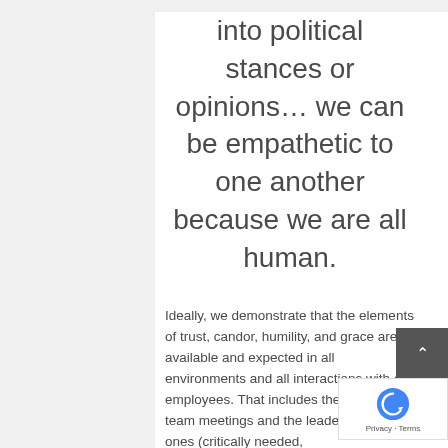into political stances or opinions... we can be empathetic to one another because we are all human.
Ideally, we demonstrate that the elements of trust, candor, humility, and grace are available and expected in all environments and all interactions with our employees. That includes the weekly team meetings and the leader one-on-ones (critically needed,